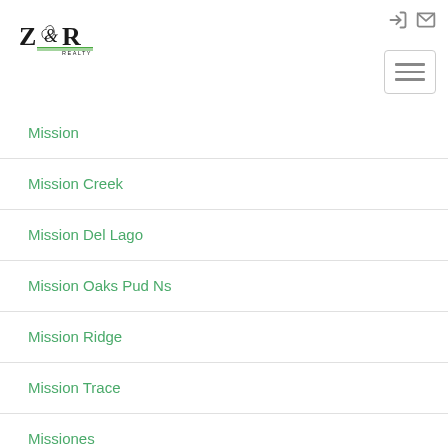Z&R Realty
Mission
Mission Creek
Mission Del Lago
Mission Oaks Pud Ns
Mission Ridge
Mission Trace
Missiones
Missiones - Misiones